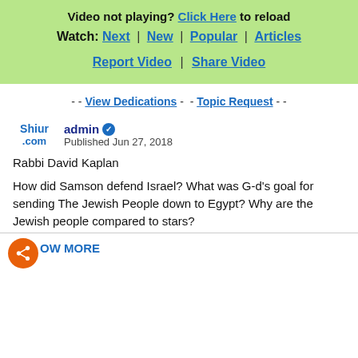Video not playing? Click Here to reload
Watch: Next | New | Popular | Articles
Report Video | Share Video
- - View Dedications - - Topic Request - -
admin Published Jun 27, 2018
Rabbi David Kaplan
How did Samson defend Israel? What was G-d's goal for sending The Jewish People down to Egypt? Why are the Jewish people compared to stars?
SHOW MORE